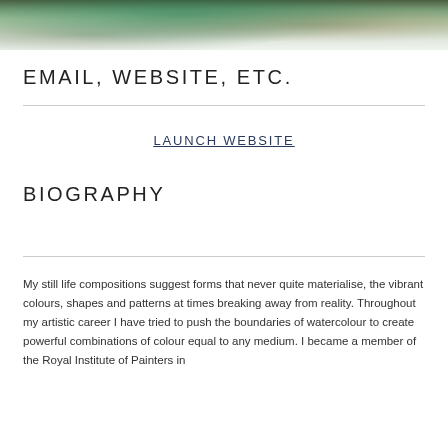[Figure (photo): Partial photograph of an artist working, cropped at top, showing teal/green paint and abstract forms]
EMAIL, WEBSITE, ETC.
LAUNCH WEBSITE
BIOGRAPHY
My still life compositions suggest forms that never quite materialise, the vibrant colours, shapes and patterns at times breaking away from reality. Throughout my artistic career I have tried to push the boundaries of watercolour to create powerful combinations of colour equal to any medium. I became a member of the Royal Institute of Painters in